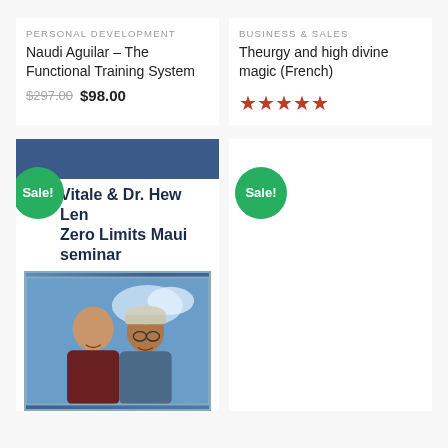PERSONAL DEVELOPMENT
Naudi Aguilar – The Functional Training System
$297.00  $98.00
BUSINESS & SALES
Theurgy and high divine magic (French)
[Figure (other): Five orange/red star rating icons]
[Figure (photo): Product card for Joe Vitale & Dr. Hew Len Zero Limits Maui seminar with blue banner header, Sale! badge in green circle, bold title text, and photo of two men smiling outdoors against a sky background]
[Figure (other): Second product card with Sale! badge in green circle, right column, mostly empty/white space shown]